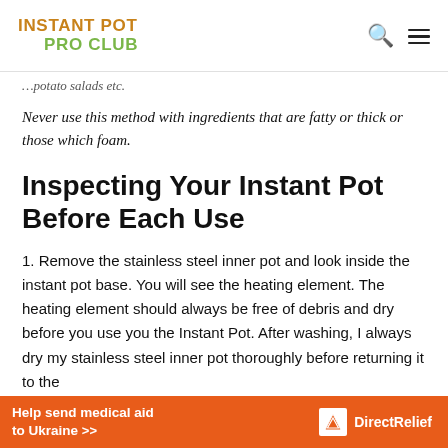INSTANT POT PRO CLUB
…potato salads etc.
Never use this method with ingredients that are fatty or thick or those which foam.
Inspecting Your Instant Pot Before Each Use
1. Remove the stainless steel inner pot and look inside the instant pot base. You will see the heating element. The heating element should always be free of debris and dry before you use you the Instant Pot. After washing, I always dry my stainless steel inner pot thoroughly before returning it to the
[Figure (other): Advertisement banner: Help send medical aid to Ukraine >> Direct Relief logo]